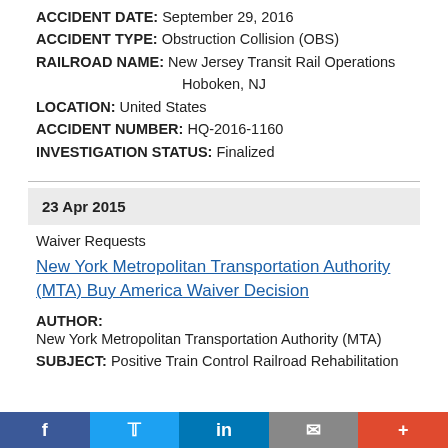ACCIDENT DATE: September 29, 2016
ACCIDENT TYPE: Obstruction Collision (OBS)
RAILROAD NAME: New Jersey Transit Rail Operations
Hoboken, NJ
LOCATION: United States
ACCIDENT NUMBER: HQ-2016-1160
INVESTIGATION STATUS: Finalized
23 Apr 2015
Waiver Requests
New York Metropolitan Transportation Authority (MTA) Buy America Waiver Decision
AUTHOR:
New York Metropolitan Transportation Authority (MTA)
SUBJECT: Positive Train Control Railroad Rehabilitation